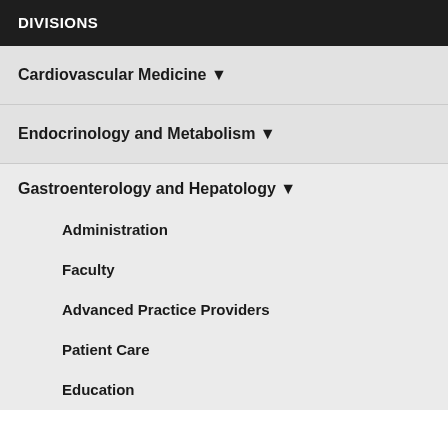DIVISIONS
Cardiovascular Medicine ▼
Endocrinology and Metabolism ▼
Gastroenterology and Hepatology ▼
Administration
Faculty
Advanced Practice Providers
Patient Care
Education